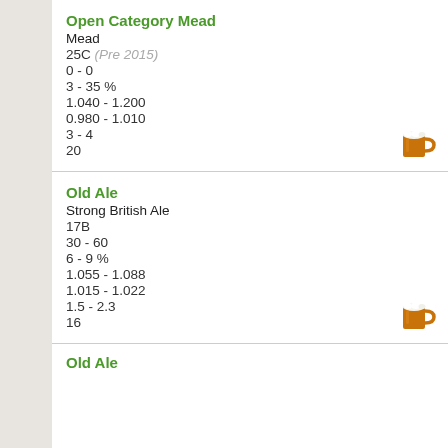Open Category Mead
Mead
25C (Pre 2015)
0 - 0
3 - 35 %
1.040 - 1.200
0.980 - 1.010
3 - 4
20
Old Ale
Strong British Ale
17B
30 - 60
6 - 9 %
1.055 - 1.088
1.015 - 1.022
1.5 - 2.3
16
Old Ale